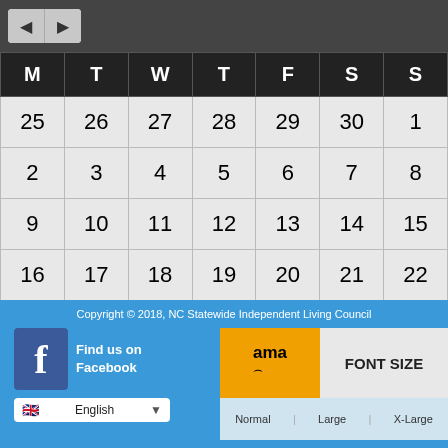[Figure (screenshot): Navigation buttons (back/forward arrows) in top bar]
| M | T | W | T | F | S | S |
| --- | --- | --- | --- | --- | --- | --- |
| 25 | 26 | 27 | 28 | 29 | 30 | 1 |
| 2 | 3 | 4 | 5 | 6 | 7 | 8 |
| 9 | 10 | 11 | 12 | 13 | 14 | 15 |
| 16 | 17 | 18 | 19 | 20 | 21 | 22 |
| 23 | 24 | 25 | 26 | 27 | 28 | 29 |
| 30 | 31 | 1 | 2 | 3 | 4 | 5 |
Copyright © 2018, NC Statewide Independent Living Council
Find us on Facebook
English
FONT SIZE
Normal  Large  X-Large